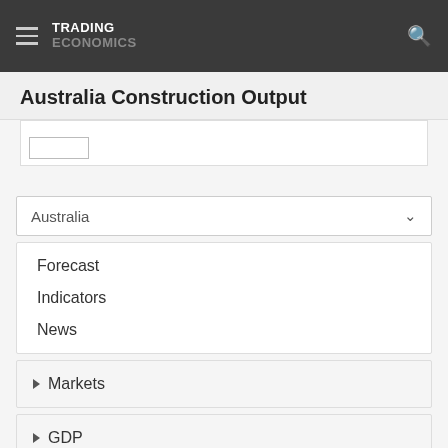TRADING ECONOMICS
Australia Construction Output
[Figure (other): Partial chart area with legend box visible at bottom]
Australia
Forecast
Indicators
News
Markets
GDP
Labour